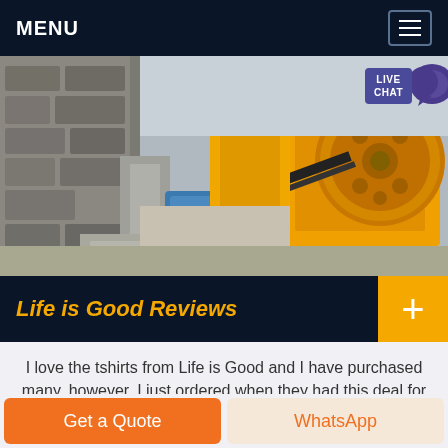MENU
[Figure (photo): Yellow industrial jaw crusher machine mounted on concrete base with stone wall in background, industrial mining equipment]
Life is Good Reviews
I love the tshirts from Life is Good and I have purchased many, however, I just ordered when they had this deal for buy 2, get 1 free. I picked out 3 online, all 3 were available at the time I
Get a Quote | WhatsApp